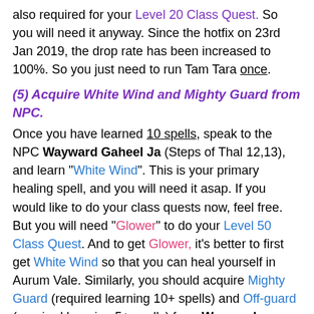also required for your Level 20 Class Quest. So you will need it anyway. Since the hotfix on 23rd Jan 2019, the drop rate has been increased to 100%. So you just need to run Tam Tara once.
(5) Acquire White Wind and Mighty Guard from NPC.
Once you have learned 10 spells, speak to the NPC Wayward Gaheel Ja (Steps of Thal 12,13), and learn "White Wind". This is your primary healing spell, and you will need it asap. If you would like to do your class quests now, feel free. But you will need "Glower" to do your Level 50 Class Quest. And to get Glower, it's better to first get White Wind so that you can heal yourself in Aurum Vale. Similarly, you should acquire Mighty Guard (required learning 10+ spells) and Off-guard (required learning 5+ spells) from Wayward Gaheel Ja. Mighty Guard can reduce incoming damage by an amazing 70%, but it sacrifices 40% of your damage output. It also increases your enmity. So don't always pop this. Use it only when you need it. Off-guard acts like a debuff for a target, and basically makes your magical attacks more powerful on the target.